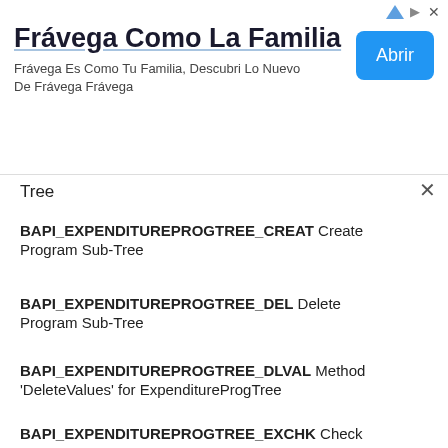[Figure (other): Advertisement banner for Frávega Como La Familia with title, description text, and Abrir button]
Tree
BAPI_EXPENDITUREPROGTREE_CREAT Create Program Sub-Tree
BAPI_EXPENDITUREPROGTREE_DEL Delete Program Sub-Tree
BAPI_EXPENDITUREPROGTREE_DLVAL Method 'DeleteValues' for ExpenditureProgTree
BAPI_EXPENDITUREPROGTREE_EXCHK Check Program Sub-Tree